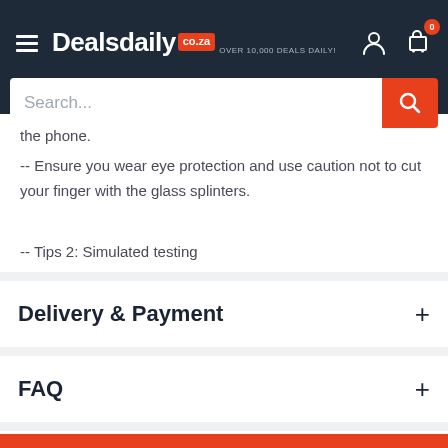Dealsdaily co.za — OVER 10,000 DEALS DAILY!
the phone.
-- Ensure you wear eye protection and use caution not to cut your finger with the glass splinters.
-- Tips 2: Simulated testing
Delivery & Payment
FAQ